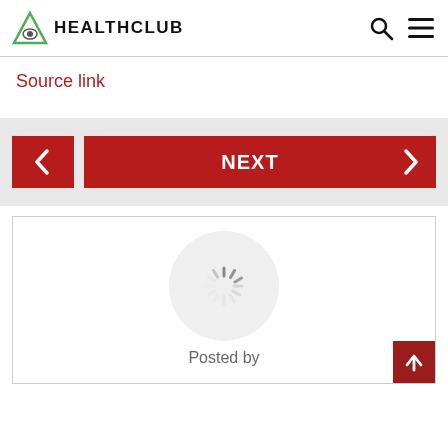HEALTHCLUB
Source link
[Figure (screenshot): Navigation bar with back arrow button (red square) and NEXT button (red wide button with right arrow)]
[Figure (screenshot): Content box with a loading spinner (circular dashed icon) and 'Posted by' text below, plus a red scroll-to-top button in bottom right corner]